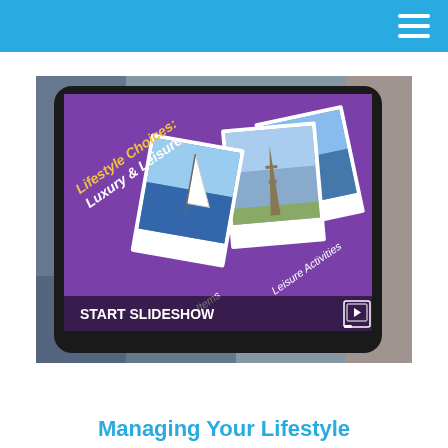[Figure (screenshot): A tablet device displaying a purple slideshow titled 'Lifestyle Choices: Luxury & Leisure' with polaroid-style photos of a sailboat, the Eiffel Tower, and other images. Text on the tablet reads 'Leisure Activities' and partially 'Items'. The bottom of the image shows 'START SLIDESHOW' in bold white text with a slideshow icon.]
Managing Your Lifestyle